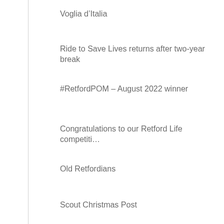Voglia d’Italia
Ride to Save Lives returns after two-year break
#RetfordPOM – August 2022 winner
Congratulations to our Retford Life competiti…
Old Retfordians
Scout Christmas Post